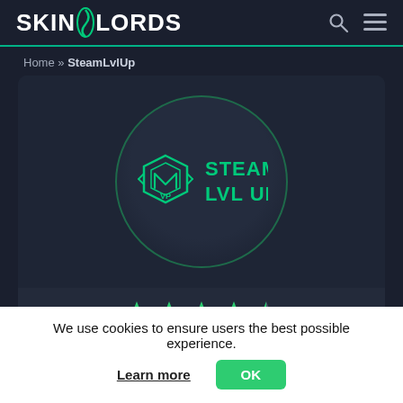SKINLORDS
Home » SteamLvlUp
[Figure (logo): SteamLvlUp logo inside a dark circle with teal border on a dark card background, showing a hexagon icon and the text STEAM LVL UP in teal, with 4.5 green stars below]
We use cookies to ensure users the best possible experience.
Learn more  OK